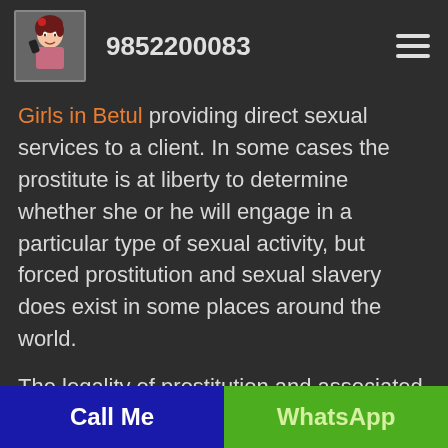9852200083
Girls in Betul providing direct sexual services to a client. In some cases the prostitute is at liberty to determine whether she or he will engage in a particular type of sexual activity, but forced prostitution and sexual slavery does exist in some places around the world.
The legality of prostitution and associated activities (soliciting, brothels, procuring) varies by jurisdiction. And yet even where it is illegal there is usually a thriving underground business
Call Me | WhatsApp